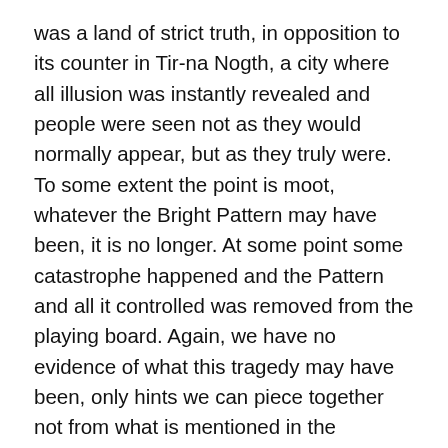was a land of strict truth, in opposition to its counter in Tir-na Nogth, a city where all illusion was instantly revealed and people were seen not as they would normally appear, but as they truly were. To some extent the point is moot, whatever the Bright Pattern may have been, it is no longer. At some point some catastrophe happened and the Pattern and all it controlled was removed from the playing board. Again, we have no evidence of what this tragedy may have been, only hints we can piece together not from what is mentioned in the Chronicles, but from what is not.
The Fall of the Bright Pattern
It is safe to assume that whatever resulted in the loss of the Bright Pattern was an event of some significance, if only to ensure a certain dramatic continuity to the